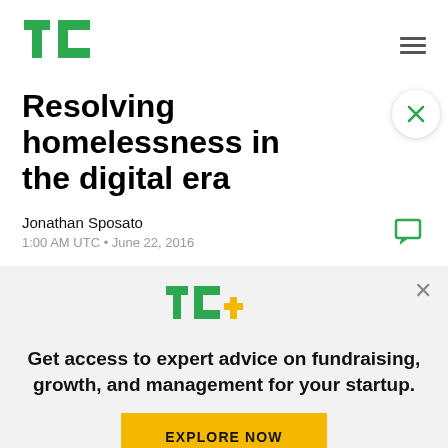TechCrunch
Resolving homelessness in the digital era
Jonathan Sposato
1:00 AM UTC • June 22, 2016
[Figure (logo): TC+ logo with green TC letters and yellow plus sign]
Get access to expert advice on fundraising, growth, and management for your startup.
EXPLORE NOW